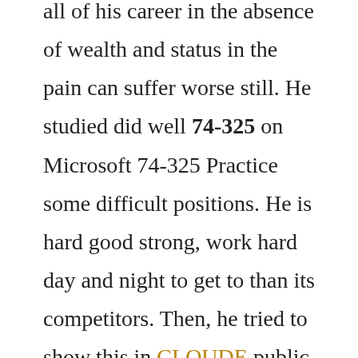all of his career in the absence of wealth and status in the pain can suffer worse still. He studied did well 74-325 on Microsoft 74-325 Practice some difficult positions. He is hard good strong, work hard day and night to get to than its competitors. Then, he tried to show this in CLOUDE public before, with the same diligence beg every opportunity employment. To achieve this, he was courted by all the people he hated people who own serve, and to flatter those whom he despised. He spends his entire life to practice and enjoy he might never be